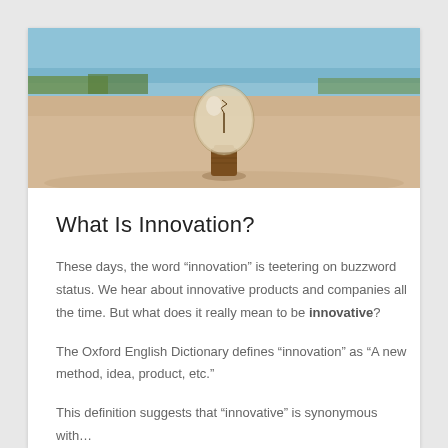[Figure (photo): A glass light bulb sitting upright on a sandy beach surface with a blue sky and green vegetation visible in the blurred background.]
What Is Innovation?
These days, the word “innovation” is teetering on buzzword status. We hear about innovative products and companies all the time. But what does it really mean to be innovative?
The Oxford English Dictionary defines “innovation” as “A new method, idea, product, etc.”
This definition suggests that “innovative” is synonymous with “new”. But is it really? To be innovative means...